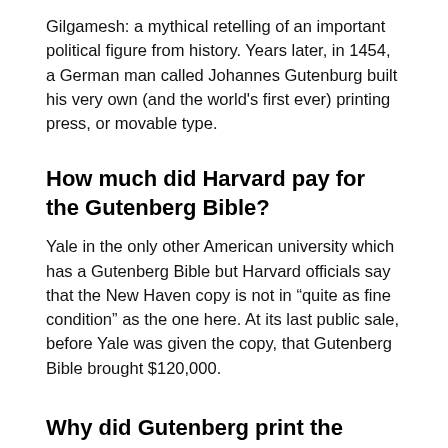Gilgamesh: a mythical retelling of an important political figure from history. Years later, in 1454, a German man called Johannes Gutenburg built his very own (and the world's first ever) printing press, or movable type.
How much did Harvard pay for the Gutenberg Bible?
Yale in the only other American university which has a Gutenberg Bible but Harvard officials say that the New Haven copy is not in “quite as fine condition” as the one here. At its last public sale, before Yale was given the copy, that Gutenberg Bible brought $120,000.
Why did Gutenberg print the Bible first?
Gutenberg chose the Bible as the first product of his marvelous invention of movable type in 1455. Martin Luther was the first to translate the Bible into the vernacular, in his case, German. … Why Gutenberg lost everything just as his